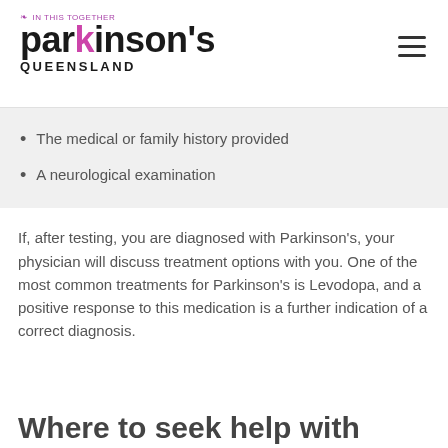IN THIS TOGETHER parkinson's QUEENSLAND
The medical or family history provided
A neurological examination
If, after testing, you are diagnosed with Parkinson's, your physician will discuss treatment options with you. One of the most common treatments for Parkinson's is Levodopa, and a positive response to this medication is a further indication of a correct diagnosis.
Where to seek help with